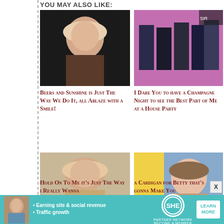You May Also Like:
[Figure (photo): Blonde woman (Katy Perry) against dark background]
[Figure (photo): Group of men posing together at an event]
Beers and Sunshine is Just The Way We Do It, all Ablaze with a Smile!
I Dare You to have a Champagne Night to see the Best Part of Me at a House Party
[Figure (photo): Blonde woman (Jennifer Lopez) in glamorous pose]
[Figure (photo): Woman (Taylor Swift) with bangs at an event]
Hold On To Me it's Just The Way i Really Wanna
a Cardigan for Betty that's gonna Make You
• Earning site & social revenue
• Traffic growth
SHE PARTNER NETWORK
BECOME A MEMBER
LEARN MORE